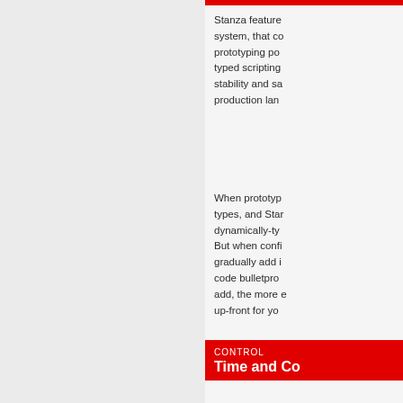Stanza features a gradual typing system, that combines rapid prototyping power of dynamically typed scripting languages with the stability and safety guarantees of production lan...
When prototyping, you don't declare types, and Stanza behaves like a dynamically-typed scripting language. But when confident in your design, gradually add in type declarations to make code bulletproof. The more types you add, the more errors Stanza catches up-front for yo...
CONTROL
Time and Co...